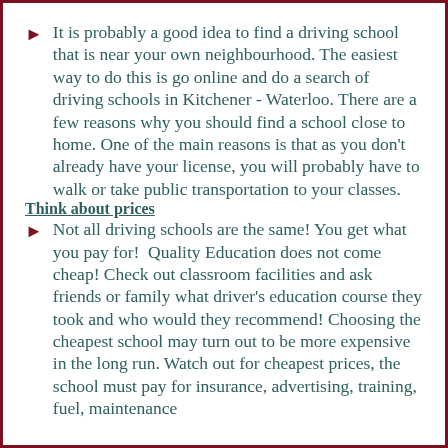It is probably a good idea to find a driving school that is near your own neighbourhood. The easiest way to do this is go online and do a search of driving schools in Kitchener - Waterloo. There are a few reasons why you should find a school close to home. One of the main reasons is that as you don't already have your license, you will probably have to walk or take public transportation to your classes.
Think about prices
Not all driving schools are the same! You get what you pay for!  Quality Education does not come cheap! Check out classroom facilities and ask friends or family what driver's education course they took and who would they recommend! Choosing the cheapest school may turn out to be more expensive in the long run. Watch out for cheapest prices, the school must pay for insurance, advertising, training,  fuel, maintenance